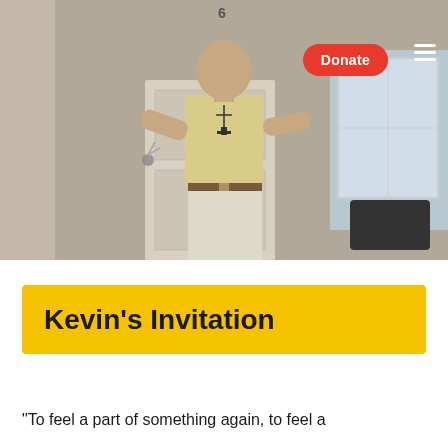[Figure (photo): A man wearing a yellow short-sleeve shirt, white pants, and a cross necklace stands holding keys in front of a door. A red 'Donate' button and hamburger menu icon are overlaid in the upper right area of the image.]
Kevin's Invitation
“To feel a part of something again, to feel a